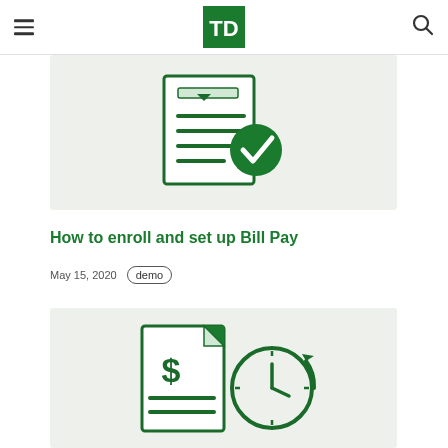TD Bank — navigation header with hamburger menu, TD logo, and search icon
[Figure (illustration): Document with lines and a green checkmark circle badge — bill pay enrollment illustration]
How to enroll and set up Bill Pay
May 15, 2020   demo
[Figure (illustration): Document with dollar sign and a clock with refresh arrow — bill pay scheduling illustration]